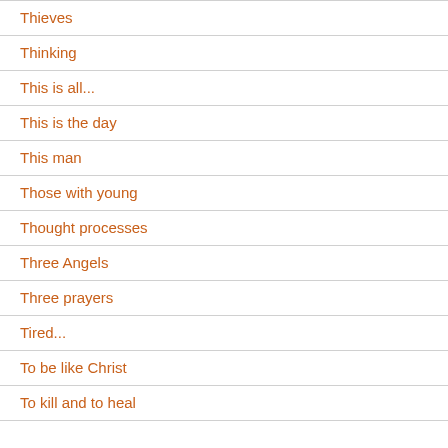Thieves
Thinking
This is all...
This is the day
This man
Those with young
Thought processes
Three Angels
Three prayers
Tired...
To be like Christ
To kill and to heal